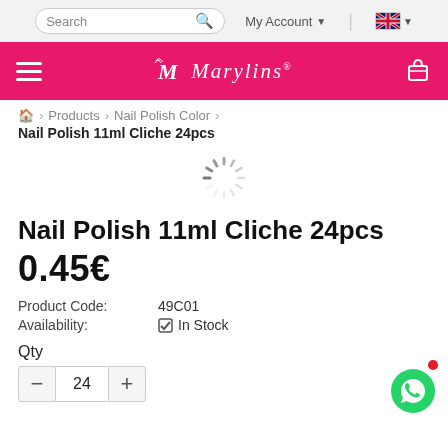[Figure (screenshot): Website top navigation bar with search box, My Account dropdown, and language flag selector on light gray background]
[Figure (logo): Marylins brand logo in white italic text on pink/magenta navigation bar, with hamburger menu on left and shopping bag icon on right]
🏠 > Products > Nail Polish Color >
Nail Polish 11ml Cliche 24pcs
[Figure (illustration): Loading spinner / activity indicator - circular dashed spinner graphic]
Nail Polish 11ml Cliche 24pcs
0.45€
Product Code: 49C01
Availability: ✔ In Stock
Qty
24 (quantity input with minus and plus buttons)